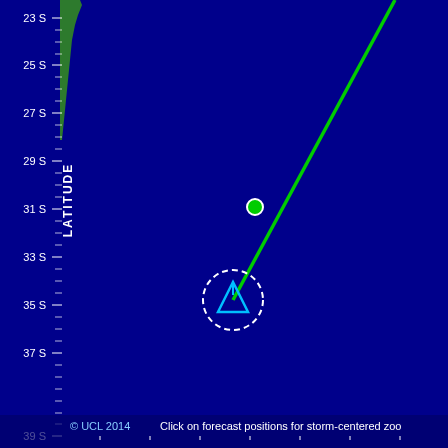[Figure (map): Meteorological map showing a tropical storm track over ocean near South America coast. Dark navy blue ocean background with green land area at upper left. A green line shows the storm track from upper right toward lower center. A green filled circle marks one forecast position around 30-31S, and a dashed white circle with a cyan/blue triangle arrow marks the current storm position around 33-34S. Y-axis shows latitude labels from 23S to 39S. A vertical 'LATITUDE' label on left side. Bottom text shows copyright and zoom instruction.]